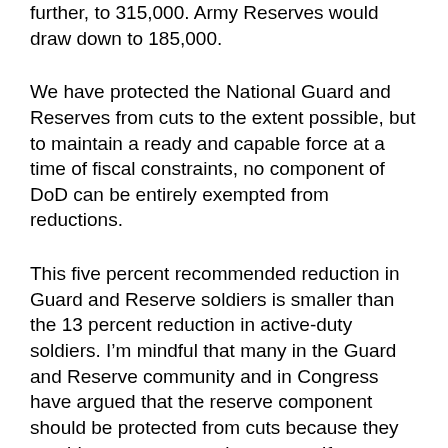further, to 315,000. Army Reserves would draw down to 185,000.
We have protected the National Guard and Reserves from cuts to the extent possible, but to maintain a ready and capable force at a time of fiscal constraints, no component of DoD can be entirely exempted from reductions.
This five percent recommended reduction in Guard and Reserve soldiers is smaller than the 13 percent reduction in active-duty soldiers. I’m mindful that many in the Guard and Reserve community and in Congress have argued that the reserve component should be protected from cuts because they provide more troops at lower cost. If our priority was having the largest possible force in the event of a large-scale, prolonged war, that would be reasonable. However, our defense strategy calls for more than that. Surge capacity is just one factor, so we must